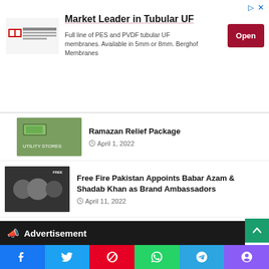[Figure (infographic): Advertisement banner: Market Leader in Tubular UF with Berghof Membranes logo and Open button]
Ramazan Relief Package
April 1, 2022
Free Fire Pakistan Appoints Babar Azam & Shadab Khan as Brand Ambassadors
April 11, 2022
Oppo F21 Pro 5G Specifications and price in Pakistan
June 6, 2022
Advertisement
Facebook Twitter Pinterest WhatsApp Telegram Phone